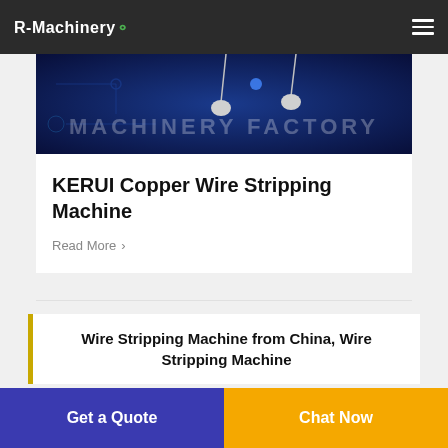R-Machinery
[Figure (photo): Dark blue machinery factory banner image with text overlay reading 'MACHINERY FACTORY' and industrial equipment visible]
KERUI Copper Wire Stripping Machine
Read More >
Wire Stripping Machine from China, Wire Stripping Machine
Get a Quote
Chat Now